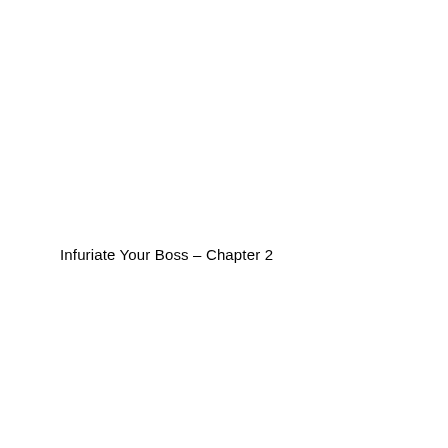Infuriate Your Boss – Chapter 2